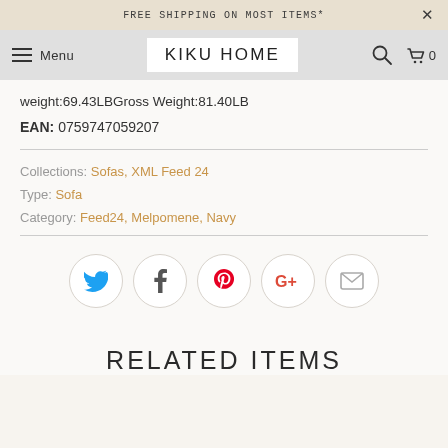FREE SHIPPING ON MOST ITEMS*
KIKU HOME  Menu
weight:69.43LBGross Weight:81.40LB
EAN: 0759747059207
Collections: Sofas, XML Feed 24
Type: Sofa
Category: Feed24, Melpomene, Navy
[Figure (other): Social share icons row: Twitter (blue bird), Facebook (f), Pinterest (P), Google+ (G+), Email (envelope)]
RELATED ITEMS